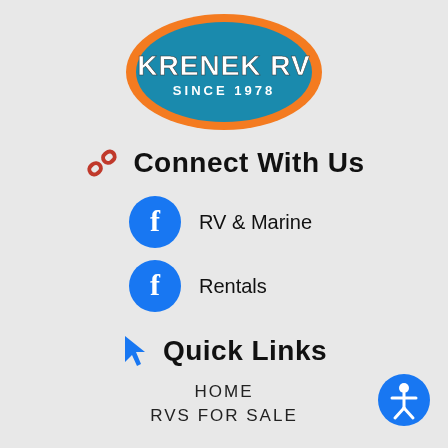[Figure (logo): Krenek RV logo — blue oval with orange border, white text 'KRENEK RV' and 'SINCE 1978']
Connect With Us
RV & Marine (Facebook)
Rentals (Facebook)
Quick Links
HOME
RVS FOR SALE
[Figure (illustration): Accessibility icon — blue circle with white person figure]